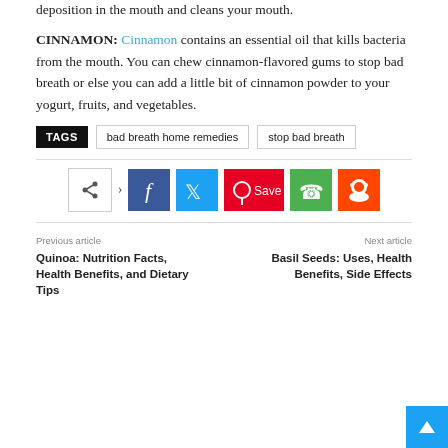deposition in the mouth and cleans your mouth.
CINNAMON: Cinnamon contains an essential oil that kills bacteria from the mouth. You can chew cinnamon-flavored gums to stop bad breath or else you can add a little bit of cinnamon powder to your yogurt, fruits, and vegetables.
TAGS  bad breath home remedies  stop bad breath
[Figure (other): Social sharing buttons: share, Facebook, Twitter, Pinterest Save, WhatsApp, Reddit]
Previous article
Quinoa: Nutrition Facts, Health Benefits, and Dietary Tips
Next article
Basil Seeds: Uses, Health Benefits, Side Effects